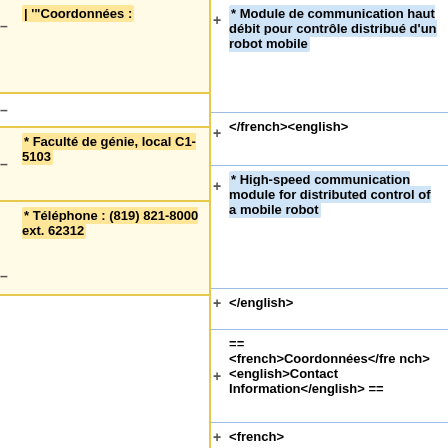| '"Coordonnées :
* Module de communication haut débit pour contrôle distribué d'un robot mobile
* Faculté de génie, local C1-5103
</french><english>
* Téléphone : (819) 821-8000 ext. 62312
* High-speed communication module for distributed control of a mobile robot
</english>
== <french>Coordonnées</french><english>Contact Information</english> ==
<french>
* Laboratoire IntRoLab, Institut Interdisciplinaire d'Innovation Technologique (3IT)